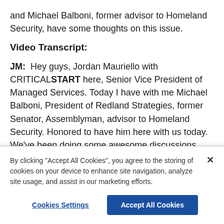and Michael Balboni, former advisor to Homeland Security, have some thoughts on this issue.
Video Transcript:
JM:  Hey guys, Jordan Mauriello with CRITICALSTART here, Senior Vice President of Managed Services. Today I have with me Michael Balboni, President of Redland Strategies, former Senator, Assemblyman, advisor to Homeland Security. Honored to have him here with us today. We've been doing some awesome discussions about things that we're doing at CRITICALSTART and working with Redland Strategies
By clicking "Accept All Cookies", you agree to the storing of cookies on your device to enhance site navigation, analyze site usage, and assist in our marketing efforts.
Cookies Settings
Accept All Cookies